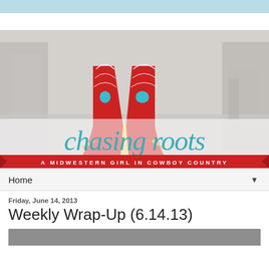[Figure (photo): Blog header banner for 'Chasing Roots - A Midwestern Girl in Cowboy Country' featuring red cowboy boots with turquoise Texas cross decorations on a blurred street background, with the blog title in teal cursive script and a red ribbon banner below.]
Home
Friday, June 14, 2013
Weekly Wrap-Up (6.14.13)
[Figure (photo): Partial image strip at bottom of page]